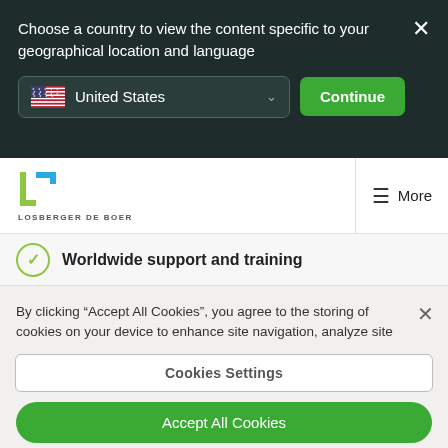Choose a country to view the content specific to your geographical location and language
[Figure (screenshot): Country selector dropdown showing United States with flag, and a green Continue button]
[Figure (logo): Losberger De Boer logo — green and blue square icon with company name below]
More
Worldwide support and training
By clicking “Accept All Cookies”, you agree to the storing of cookies on your device to enhance site navigation, analyze site usage, and assist in our marketing efforts.
Cookies Settings
Accept All Cookies